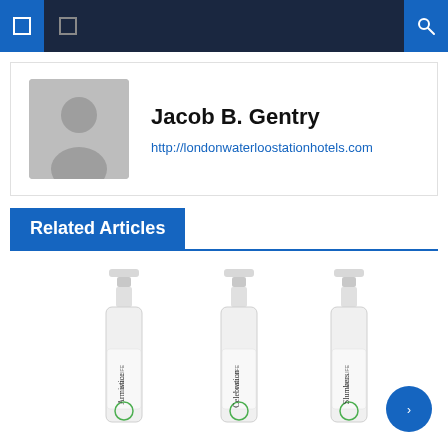Navigation bar with menu and search icons
Jacob B. Gentry
http://londonwaterloostationhotels.com
Related Articles
[Figure (photo): Three WELLLIFE perfume spray bottles labeled Armistice, Celebration, and Slumbers, arranged side by side on white background]